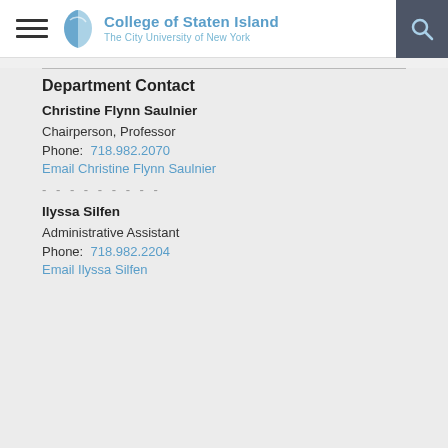College of Staten Island — The City University of New York
Department Contact
Christine Flynn Saulnier
Chairperson, Professor
Phone: 718.982.2070
Email Christine Flynn Saulnier
Ilyssa Silfen
Administrative Assistant
Phone: 718.982.2204
Email Ilyssa Silfen